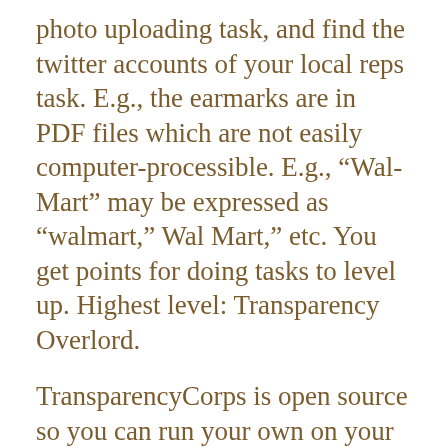photo uploading task, and find the twitter accounts of your local reps task. E.g., the earmarks are in PDF files which are not easily computer-processible. E.g., “Wal-Mart” may be expressed as “walmart,” Wal Mart,” etc. You get points for doing tasks to level up. Highest level: Transparency Overlord.
TransparencyCorps is open source so you can run your own on your own site. “We ask you not to call it TransparencyCorps because that would be a jerk thing to do.” :)
David Moore with